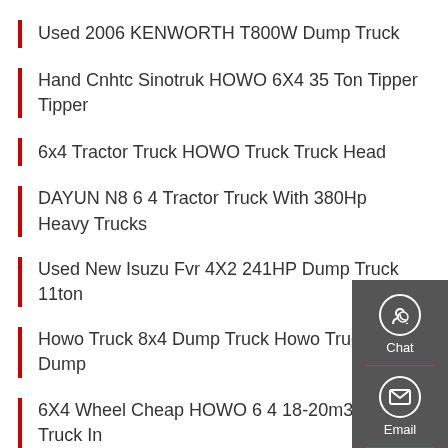Used 2006 KENWORTH T800W Dump Truck
Hand Cnhtc Sinotruk HOWO 6X4 35 Ton Tipper Tipper
6x4 Tractor Truck HOWO Truck Truck Head
DAYUN N8 6 4 Tractor Truck With 380Hp Heavy Trucks
Used New Isuzu Fvr 4X2 241HP Dump Truck 11ton
Howo Truck 8x4 Dump Truck Howo Truck 8x4 Dump
6X4 Wheel Cheap HOWO 6 4 18-20m3 Dump Truck In
Rigid Dump Truck Shop Service Repair Manual SN
Dump Trucks - Translation Into Chinese - Reverso